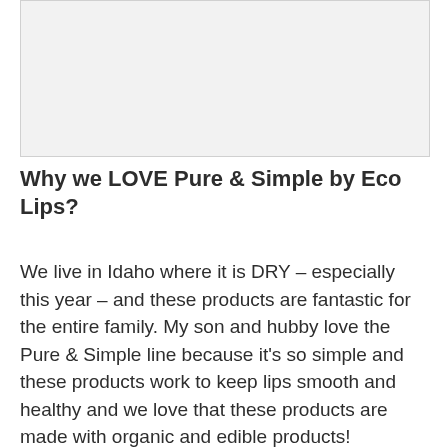[Figure (photo): Product image placeholder for Pure & Simple by Eco Lips]
Why we LOVE Pure & Simple by Eco Lips?
We live in Idaho where it is DRY – especially this year – and these products are fantastic for the entire family. My son and hubby love the Pure & Simple line because it's so simple and these products work to keep lips smooth and healthy and we love that these products are made with organic and edible products!